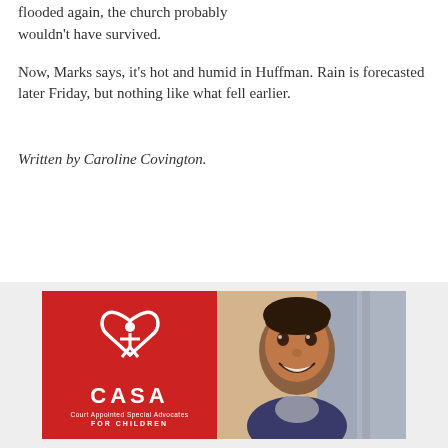flooded again, the church probably wouldn't have survived.
Now, Marks says, it's hot and humid in Huffman. Rain is forecasted later Friday, but nothing like what fell earlier.
Written by Caroline Covington.
[Figure (photo): CASA (Court Appointed Special Advocates for Children) advertisement banner with red background showing CASA logo on the left and a smiling young boy on the right.]